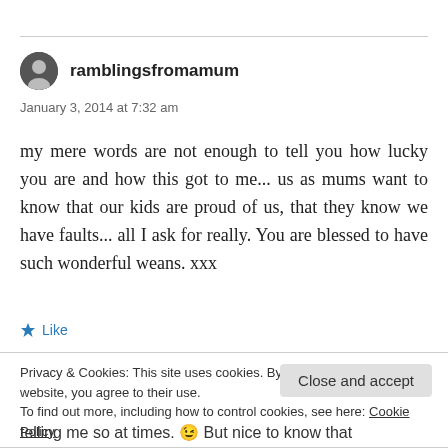ramblingsfromamum
January 3, 2014 at 7:32 am
my mere words are not enough to tell you how lucky you are and how this got to me... us as mums want to know that our kids are proud of us, that they know we have faults... all I ask for really. You are blessed to have such wonderful weans. xxx
Like
Privacy & Cookies: This site uses cookies. By continuing to use this website, you agree to their use.
To find out more, including how to control cookies, see here: Cookie Policy
Close and accept
telling me so at times. 😉 But nice to know that